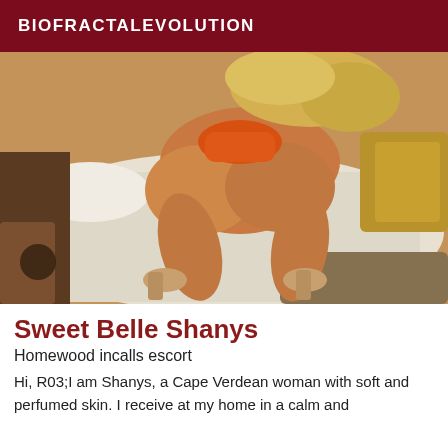BIOFRACTALEVOLUTION
[Figure (photo): A photo of a woman posed on a bed wearing an orange swimsuit and high heels]
Sweet Belle Shanys
Homewood incalls escort
Hi, R03;I am Shanys, a Cape Verdean woman with soft and perfumed skin. I receive at my home in a calm and